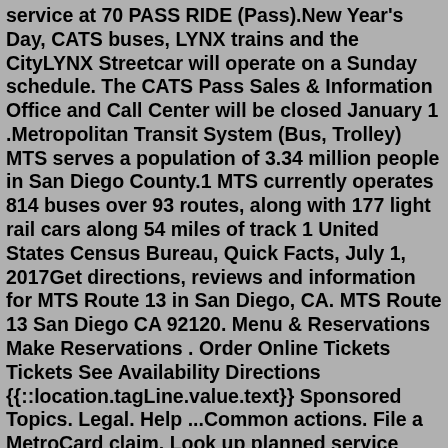service at 70 PASS RIDE (Pass).New Year's Day, CATS buses, LYNX trains and the CityLYNX Streetcar will operate on a Sunday schedule. The CATS Pass Sales & Information Office and Call Center will be closed January 1 .Metropolitan Transit System (Bus, Trolley) MTS serves a population of 3.34 million people in San Diego County.1 MTS currently operates 814 buses over 93 routes, along with 177 light rail cars along 54 miles of track 1 United States Census Bureau, Quick Facts, July 1, 2017Get directions, reviews and information for MTS Route 13 in San Diego, CA. MTS Route 13 San Diego CA 92120. Menu & Reservations Make Reservations . Order Online Tickets Tickets See Availability Directions {{::location.tagLine.value.text}} Sponsored Topics. Legal. Help ...Common actions. File a MetroCard claim. Look up planned service changes. Book or manage a Paratransit trip. Contact Lost and Found. Find out about our upcoming board meetings. Complaints, compliments, and feedback.operates fixed route transportation within the City of Fort